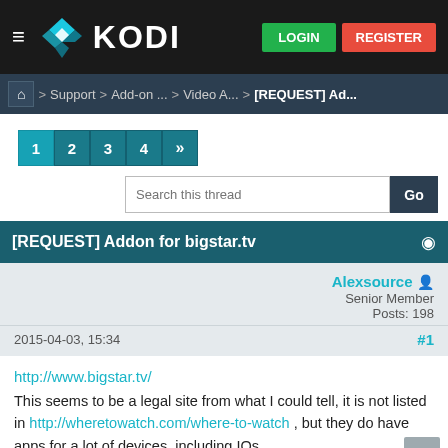KODI — LOGIN | REGISTER
⌂ > Support > Add-on ... > Video A... > [REQUEST] Ad...
Pagination: 1 2 3 4 »
Search this thread | Go
[REQUEST] Addon for bigstar.tv
Alexsource
Senior Member
Posts: 198
2015-04-03, 15:34  #1
http://www.bigstar.tv/
This seems to be a legal site from what I could tell, it is not listed in http://wheretowatch.com/where-to-watch , but they do have apps for a lot of devices, including IOs